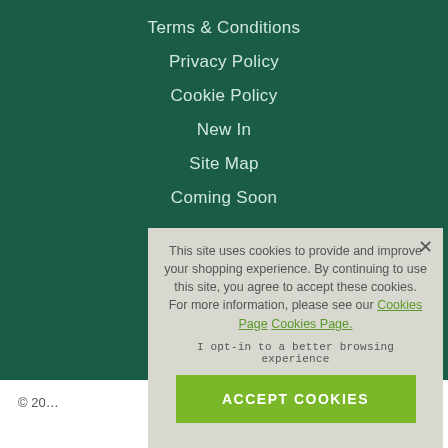Terms & Conditions
Privacy Policy
Cookie Policy
New In
Site Map
Coming Soon
This site uses cookies to provide and improve your shopping experience. By continuing to use this site, you agree to accept these cookies. For more information, please see our Cookies Page Cookies Page.
I opt-in to a better browsing experience
ACCEPT COOKIES
© 20…